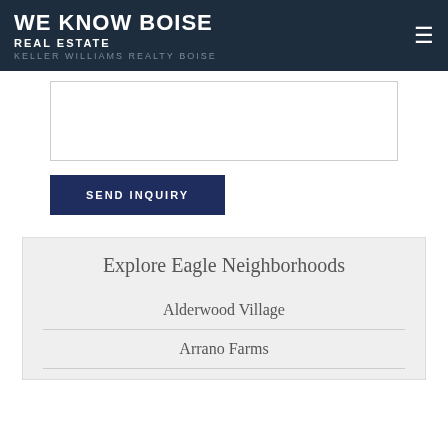WE KNOW BOISE
REAL ESTATE
KELLER WILLIAMS REALTY BOISE
[text input area]
SEND INQUIRY
Explore Eagle Neighborhoods
Alderwood Village
Arrano Farms